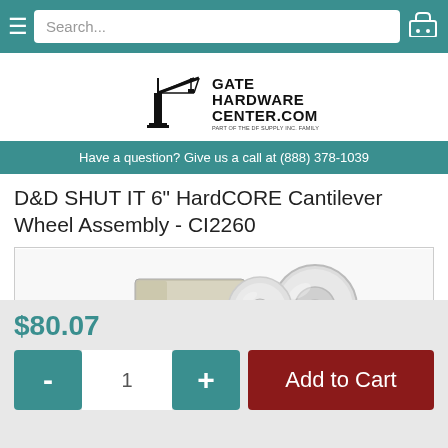Search...
[Figure (logo): Gate Hardware Center.com logo with crane icon and tagline Part Of The DF Supply Inc. Family]
Have a question? Give us a call at (888) 378-1039
D&D SHUT IT 6" HardCORE Cantilever Wheel Assembly - CI2260
[Figure (photo): Product photo of D&D SHUT IT 6 inch HardCORE Cantilever Wheel Assembly CI2260, showing a silver metal wheel assembly with bracket]
$80.07
1
Add to Cart